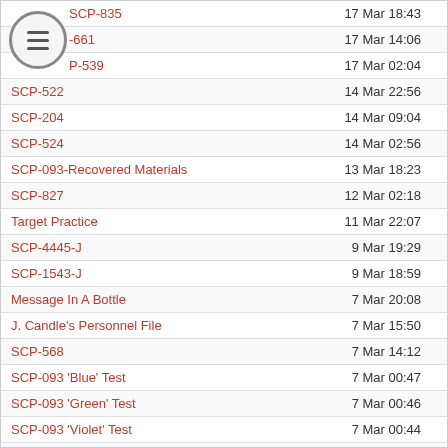| Name | Date | Count |
| --- | --- | --- |
| SCP-835 | 17 Mar 18:43 | 78 |
| SCP-661 | 17 Mar 14:06 | 90 |
| SCP-539 | 17 Mar 02:04 | 37 |
| SCP-522 | 14 Mar 22:56 | 43 |
| SCP-204 | 14 Mar 09:04 | 30 |
| SCP-524 | 14 Mar 02:56 | 55 |
| SCP-093-Recovered Materials | 13 Mar 18:23 | 110 |
| SCP-827 | 12 Mar 02:18 | 72 |
| Target Practice | 11 Mar 22:07 | 8 |
| SCP-4445-J | 9 Mar 19:29 | 46 |
| SCP-1543-J | 9 Mar 18:59 | 58 |
| Message In A Bottle | 7 Mar 20:08 | 17 |
| J. Candle's Personnel File | 7 Mar 15:50 | 3 |
| SCP-568 | 7 Mar 14:12 | 17 |
| SCP-093 'Blue' Test | 7 Mar 00:47 | 11 |
| SCP-093 'Green' Test | 7 Mar 00:46 | 19 |
| SCP-093 'Violet' Test | 7 Mar 00:44 | 15 |
| SCP-093 'Yellow' Test | 7 Mar 00:41 | 5 |
| SCP-093 'Red' Test | 7 Mar 00:41 | 5 |
| SCP-525 | 4 Mar 22:24 | 24 |
| SCP-510 | 4 Mar 17:24 | 34 |
| ARCHIVE C-424: FILES 1~10 | 4 Mar 09:59 | 7 |
| SCP-507 | 3 Mar 22:41 | 147 |